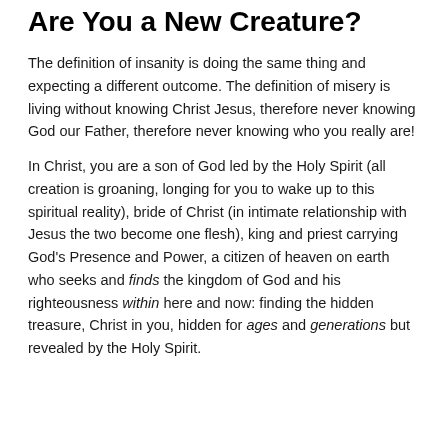Are You a New Creature?
The definition of insanity is doing the same thing and expecting a different outcome. The definition of misery is living without knowing Christ Jesus, therefore never knowing God our Father, therefore never knowing who you really are!
In Christ, you are a son of God led by the Holy Spirit (all creation is groaning, longing for you to wake up to this spiritual reality), bride of Christ (in intimate relationship with Jesus the two become one flesh), king and priest carrying God's Presence and Power, a citizen of heaven on earth who seeks and finds the kingdom of God and his righteousness within here and now: finding the hidden treasure, Christ in you, hidden for ages and generations but revealed by the Holy Spirit.